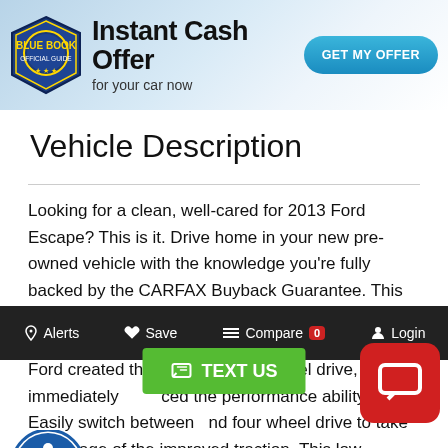[Figure (screenshot): Blue Book Instant Cash Offer banner ad with badge logo, 'Instant Cash Offer for your car now' text, and a teal 'GET MY OFFER' button]
Vehicle Description
Looking for a clean, well-cared for 2013 Ford Escape? This is it. Drive home in your new pre-owned vehicle with the knowledge you're fully backed by the CARFAX Buyback Guarantee. This SUV is a great example of beauty and brawn with classic styling and a workhorse power plant. When Ford created this vehicle with 4 wheel drive, they immediately ced the performance ability. Easily switch between nd four wheel drive to take advantage of the improved traction. This low mileage Ford Escape has barely information about the 201 at just under $23,000 and com very co small SUV market. Ford has chosen to concentrat economy, versatility and new technology with their new SUV. Small but efficient turbocharged 4-cylinder engines and